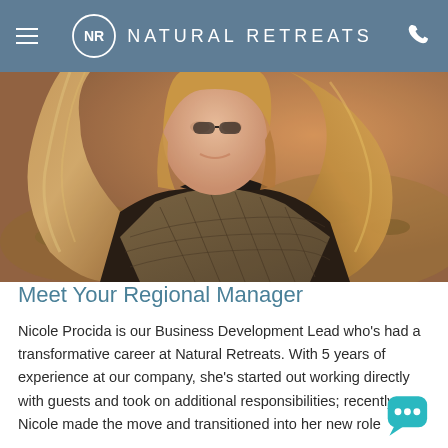NATURAL RETREATS
[Figure (photo): Portrait photo of Nicole Procida, a woman with long blonde hair, wearing a black turtleneck and quilted dark khaki jacket, photographed outdoors in a desert/arid landscape with golden light.]
Meet Your Regional Manager
Nicole Procida is our Business Development Lead who's had a transformative career at Natural Retreats. With 5 years of experience at our company, she's started out working directly with guests and took on additional responsibilities; recently, Nicole made the move and transitioned into her new role